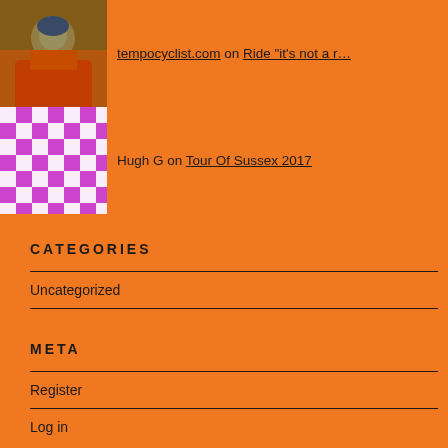[Figure (photo): Avatar photo of a cyclist, outdoor photo]
tempocyclist.com on Ride “it’s not a r…
[Figure (illustration): Purple and white checkerboard pattern avatar]
Hugh G on Tour Of Sussex 2017
CATEGORIES
Uncategorized
META
Register
Log in